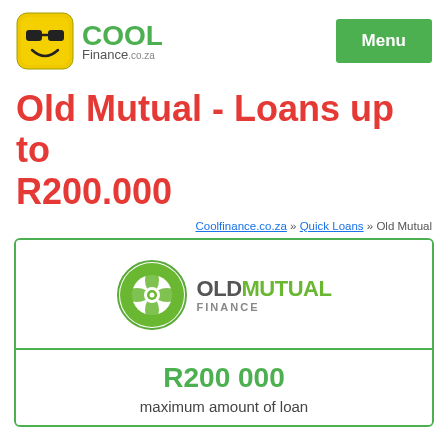[Figure (logo): Cool Finance .co.za logo with yellow/green smiley face icon and green COOL text]
Menu
Old Mutual - Loans up to R200.000
Coolfinance.co.za » Quick Loans » Old Mutual
[Figure (logo): Old Mutual Finance logo with green circular icon and OLD MUTUAL FINANCE text]
R200 000
maximum amount of loan